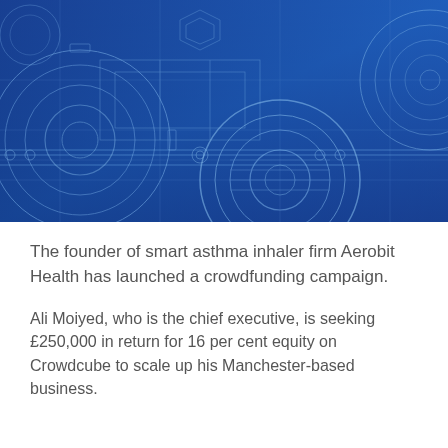[Figure (illustration): Engineering blueprint-style background image with gears, circular technical diagrams, and schematic lines on a blue gradient background]
The founder of smart asthma inhaler firm Aerobit Health has launched a crowdfunding campaign.
Ali Moiyed, who is the chief executive, is seeking £250,000 in return for 16 per cent equity on Crowdcube to scale up his Manchester-based business.